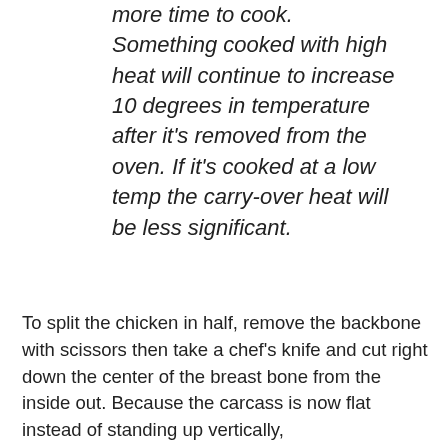more time to cook. Something cooked with high heat will continue to increase 10 degrees in temperature after it's removed from the oven. If it's cooked at a low temp the carry-over heat will be less significant.
To split the chicken in half, remove the backbone with scissors then take a chef's knife and cut right down the center of the breast bone from the inside out. Because the carcass is now flat instead of standing up vertically,